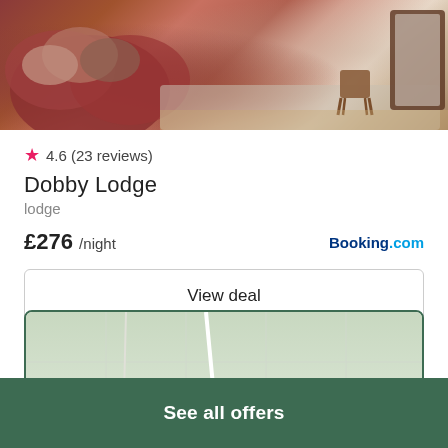[Figure (photo): Partial view of a lodge interior with red leather sofa, cushions, and a wooden stool near a mirror]
★ 4.6 (23 reviews)
Dobby Lodge
lodge
£276 /night
Booking.com
View deal
[Figure (map): Map area with a location pin marker in dark green]
See all offers